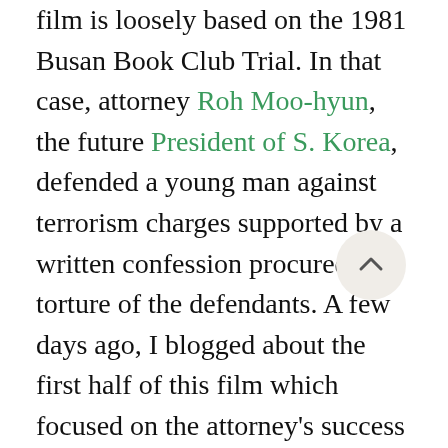film is loosely based on the 1981 Busan Book Club Trial. In that case, attorney Roh Moo-hyun, the future President of S. Korea, defended a young man against terrorism charges supported by a written confession procured by torture of the defendants. A few days ago, I blogged about the first half of this film which focused on the attorney's success building a real estate title registration practice. Today's post explores the court drama at the climax of the movie.

One evening, lawyer Song Woo-seok (pseudonym for Mr. Roh, played by actor Song Kang-ho) entertains his high school classmate alumni at a restaurant managed by his...